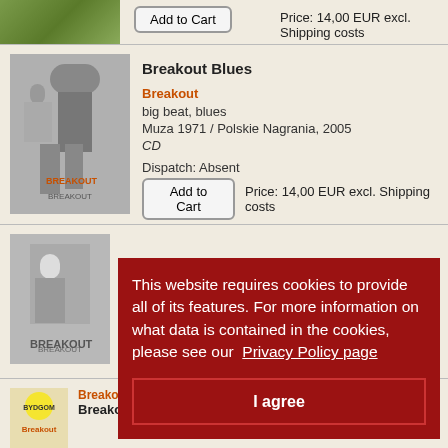[Figure (photo): Partial product image at top, cropped green/nature image]
Add to Cart
Price: 14,00 EUR excl. Shipping costs
[Figure (photo): Black and white photo of person with child - Breakout Blues album cover]
Breakout Blues
Breakout
big beat, blues
Muza 1971 / Polskie Nagrania, 2005
CD
Dispatch: Absent
Add to Cart
Price: 14,00 EUR excl. Shipping costs
This website requires cookies to provide all of its features. For more information on what data is contained in the cookies, please see our Privacy Policy page
I agree
[Figure (photo): Third product row partially visible behind cookie overlay - Breakout album]
big beat, blues
CD
Dispatch: 2dni
BREAKOUT
Add to Cart
Price: 14,00 EUR excl. Shipping costs
[Figure (photo): Bottom partial product - Breakout label sticker image]
Breakout
Breakout Oni zaraz przyjdą tu